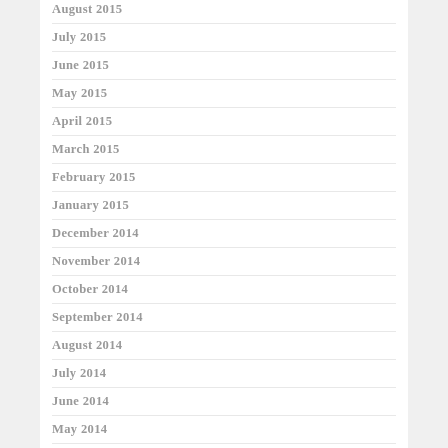August 2015
July 2015
June 2015
May 2015
April 2015
March 2015
February 2015
January 2015
December 2014
November 2014
October 2014
September 2014
August 2014
July 2014
June 2014
May 2014
April 2014